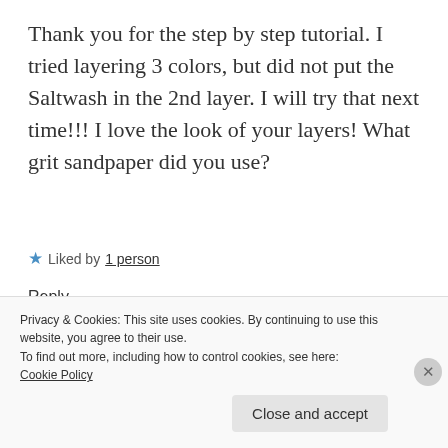Thank you for the step by step tutorial. I tried layering 3 colors, but did not put the Saltwash in the 2nd layer. I will try that next time!!! I love the look of your layers! What grit sandpaper did you use?
★ Liked by 1 person
Reply
Privacy & Cookies: This site uses cookies. By continuing to use this website, you agree to their use.
To find out more, including how to control cookies, see here: Cookie Policy
Close and accept